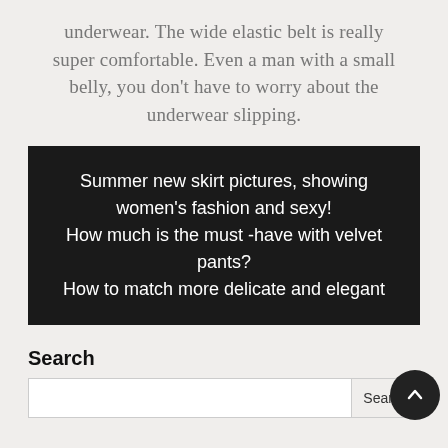underwear. The wide elastic belt is really super comfortable. Even a man with a small belly, you don't have to worry about the underwear slipping.
Summer new skirt pictures, showing women's fashion and sexy! How much is the must -have with velvet pants? How to match more delicate and elegant
Search